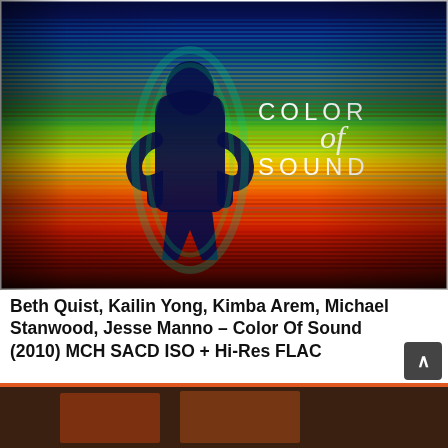[Figure (illustration): Album cover for 'Color of Sound' showing a silhouette of a standing person surrounded by horizontal rainbow-colored bands radiating outward — from deep blue at the top through green, yellow, orange and red at the bottom. The text 'COLOR of SOUND' appears in white in the upper right area.]
Beth Quist, Kailin Yong, Kimba Arem, Michael Stanwood, Jesse Manno – Color Of Sound (2010) MCH SACD ISO + Hi-Res FLAC